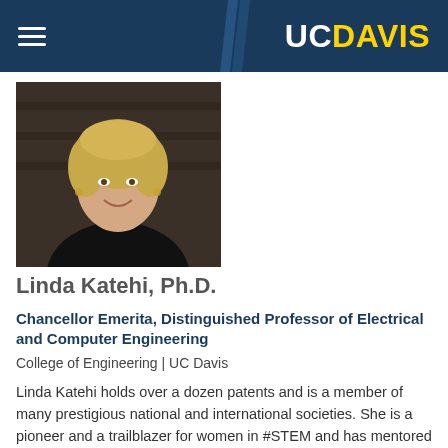UC DAVIS
[Figure (photo): Headshot photo of Linda Katehi, a woman with blonde hair wearing a black blazer, smiling.]
Linda Katehi, Ph.D.
Chancellor Emerita, Distinguished Professor of Electrical and Computer Engineering
College of Engineering | UC Davis
Linda Katehi holds over a dozen patents and is a member of many prestigious national and international societies. She is a pioneer and a trailblazer for women in #STEM and has mentored many students who have gone on to become successful academic and industry leaders.